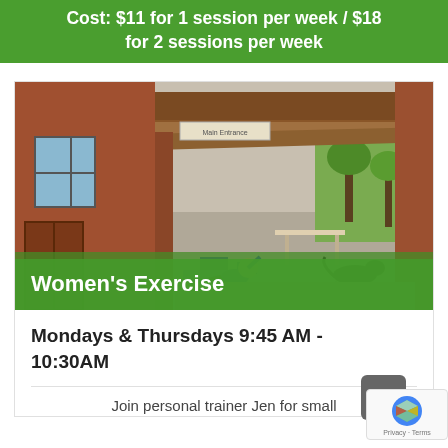Cost: $11 for 1 session per week / $18 for 2 sessions per week
[Figure (photo): Outdoor veranda of a brick building with a woman exercising on a mat and a dog standing nearby; trees and a playground visible in the background.]
Women's Exercise
Mondays & Thursdays 9:45 AM - 10:30AM
Join personal trainer Jen for small